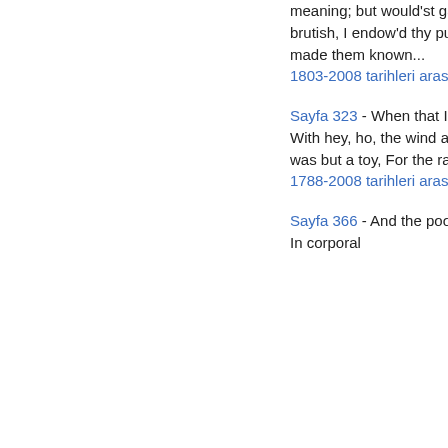meaning; but would'st gabble like A thing most brutish, I endow'd thy purposes With words that made them known...
1803-2008 tarihleri arasında, 459 kitapta geçiyor
Sayfa 323 - When that I was and a little tiny boy, With hey, ho, the wind and the rain; A foolish thing was but a toy, For the rain it raineth every day.
1788-2008 tarihleri arasında, 529 kitapta geçiyor
Sayfa 366 - And the poor beetle, that we tread upon, In corporal